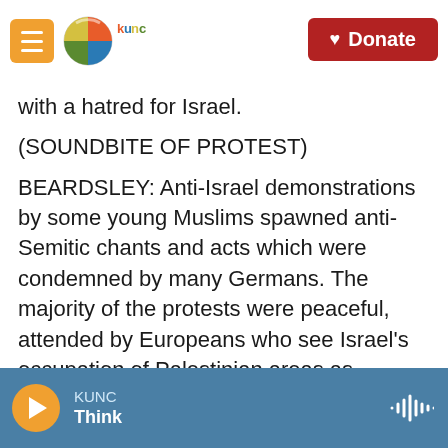KUNC — Donate
with a hatred for Israel.
(SOUNDBITE OF PROTEST)
BEARDSLEY: Anti-Israel demonstrations by some young Muslims spawned anti-Semitic chants and acts which were condemned by many Germans. The majority of the protests were peaceful, attended by Europeans who see Israel's occupation of Palestinian areas as oppressive and believe Israel uses disproportionate force. In France, which has Europe's largest Muslim and Jewish populations, tensions in the Middle East often play
KUNC — Think